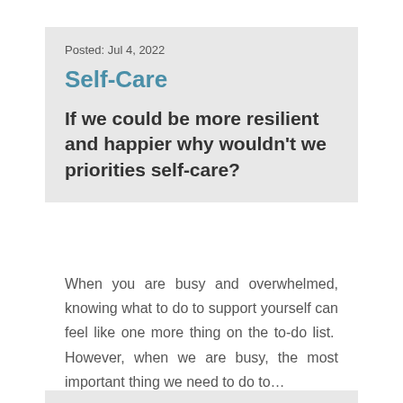Posted: Jul 4, 2022
Self-Care
If we could be more resilient and happier why wouldn't we priorities self-care?
When you are busy and overwhelmed, knowing what to do to support yourself can feel like one more thing on the to-do list.  However, when we are busy, the most important thing we need to do to…